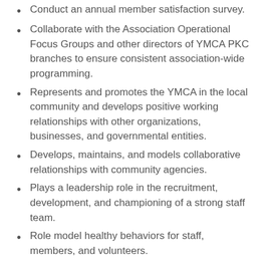Conduct an annual member satisfaction survey.
Collaborate with the Association Operational Focus Groups and other directors of YMCA PKC branches to ensure consistent association-wide programming.
Represents and promotes the YMCA in the local community and develops positive working relationships with other organizations, businesses, and governmental entities.
Develops, maintains, and models collaborative relationships with community agencies.
Plays a leadership role in the recruitment, development, and championing of a strong staff team.
Role model healthy behaviors for staff, members, and volunteers.
Qualifications
Bachelor's degree in human services, social services